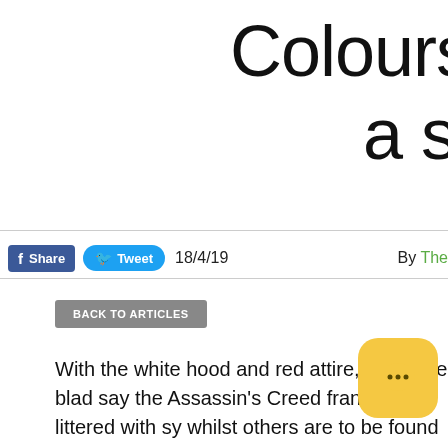Colours in A a sh
Share  Tweet  18/4/19  By The
BACK TO ARTICLES
With the white hood and red attire, the hidden blad say the Assassin's Creed franchise is littered with sy whilst others are to be found when taking a second However, just finding the symbols doesn't always m into the franchise and see what it can reveal throug become all so familiar with.
For this article, the focus will be on the di ol red and white, seen with the templars and assassin game and historical setting.